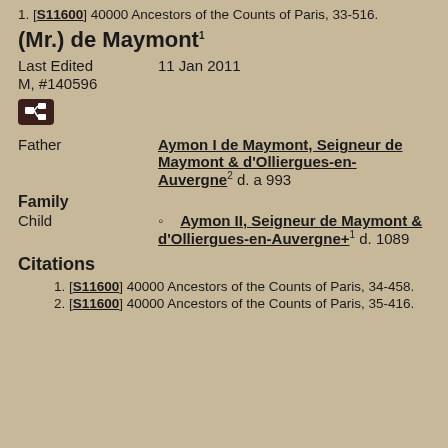1. [S11600] 40000 Ancestors of the Counts of Paris, 33-516.
(Mr.) de Maymont¹
Last Edited   11 Jan 2011
M, #140596
Father   Aymon I de Maymont, Seigneur de Maymont & d'Olliergues-en-Auvergne² d. a 993
Family
Child   Aymon II, Seigneur de Maymont & d'Olliergues-en-Auvergne+¹ d. 1089
Citations
1. [S11600] 40000 Ancestors of the Counts of Paris, 34-458.
2. [S11600] 40000 Ancestors of the Counts of Paris, 35-416.